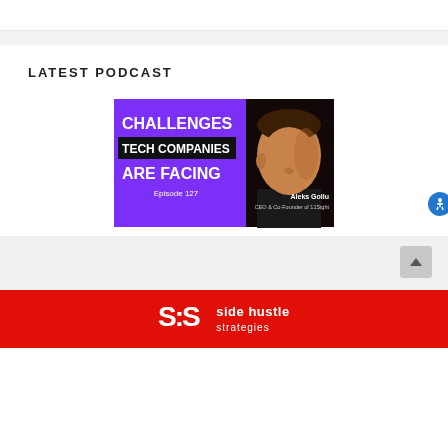LATEST PODCAST
[Figure (photo): Podcast thumbnail image: purple and black background with bold white text reading 'CHALLENGES TECH COMPANIES ARE FACING Episode 127', and a photo of Aleks Gollu, CEO & Co-Founder of 11Sight on the right side.]
side hustle strategies